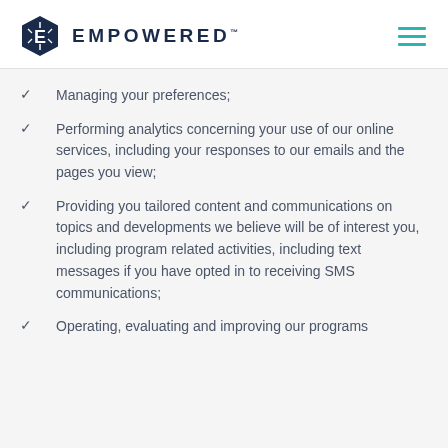EMPOWERED™
Managing your preferences;
Performing analytics concerning your use of our online services, including your responses to our emails and the pages you view;
Providing you tailored content and communications on topics and developments we believe will be of interest you, including program related activities, including text messages if you have opted in to receiving SMS communications;
Operating, evaluating and improving our programs